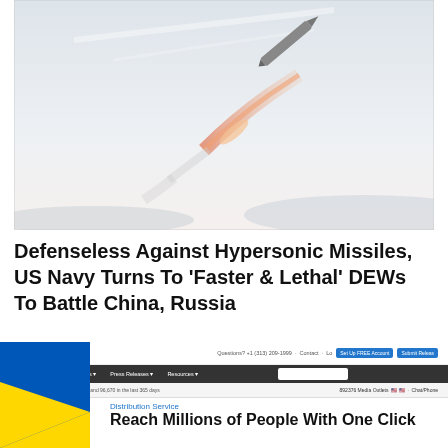[Figure (photo): A missile or rocket launching into a pale grey-white sky, leaving a bright trail of flame and smoke. Silhouettes of hills or mountains visible at the bottom.]
Defenseless Against Hypersonic Missiles, US Navy Turns To ‘Faster & Lethal’ DEWs To Battle China, Russia
[Figure (screenshot): Screenshot of the EIN Presswire press release distribution website showing navigation bar, search field, blue call-to-action buttons, and partial headline reading 'Reach Millions of People With One Click'.  A Ukraine flag graphic overlays the lower-left corner.]